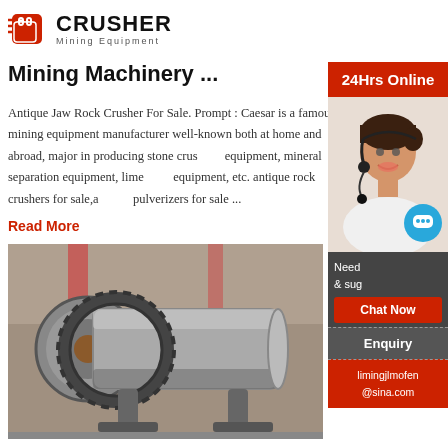[Figure (logo): Crusher Mining Equipment logo with red shopping bag icon and bold black CRUSHER text]
Mining Machinery ...
Antique Jaw Rock Crusher For Sale. Prompt : Caesar is a famous mining equipment manufacturer well-known both at home and abroad, major in producing stone crushers, equipment, mineral separation equipment, limestone equipment, etc. antique rock crushers for sale,antique pulverizers for sale ...
Read More
[Figure (photo): Industrial ball mill equipment photograph, large cylindrical grey machine with gear wheel, in a factory setting]
Equipment Classifieds ICMJ Prospecting Mining Journal
[Figure (infographic): Right sidebar with 24Hrs Online banner, customer service representative photo, chat bubble icon, Chat Now button, Enquiry section, and limingjlmofen@sina.com email]